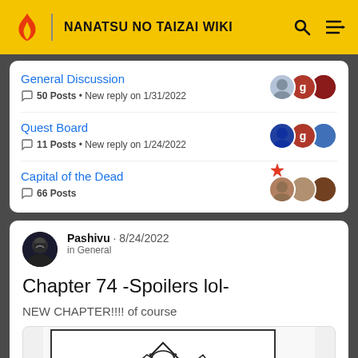NANATSU NO TAIZAI WIKI
General Discussion
50 Posts • New reply on 1/31/2022
Quest Board
11 Posts • New reply on 1/24/2022
Capital of the Dead
66 Posts
Pashivu · 8/24/2022
in General
Chapter 74 -Spoilers lol-
NEW CHAPTER!!!! of course
[Figure (illustration): Manga chapter preview showing a mountain/landscape scene with figures and palm trees, black and white manga art style]